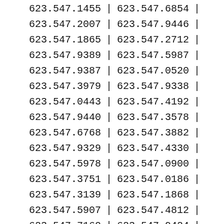| 623.547.1455 | | | 623.547.6854 | | |
| 623.547.2007 | | | 623.547.9446 | | |
| 623.547.1865 | | | 623.547.2712 | | |
| 623.547.9389 | | | 623.547.5987 | | |
| 623.547.9387 | | | 623.547.0520 | | |
| 623.547.3979 | | | 623.547.9338 | | |
| 623.547.0443 | | | 623.547.4192 | | |
| 623.547.9440 | | | 623.547.3578 | | |
| 623.547.6768 | | | 623.547.3882 | | |
| 623.547.9329 | | | 623.547.4330 | | |
| 623.547.5978 | | | 623.547.0900 | | |
| 623.547.3751 | | | 623.547.0186 | | |
| 623.547.3139 | | | 623.547.1868 | | |
| 623.547.5907 | | | 623.547.4812 | | |
| 623.547.7160 | | | 623.547.9424 | | |
| 623.547.7297 | | | 623.547.6481 | | |
| 623.547.8050 | | | 623.547.3879 | | |
| 623.547.6447 | | | 623.547.7169 | | |